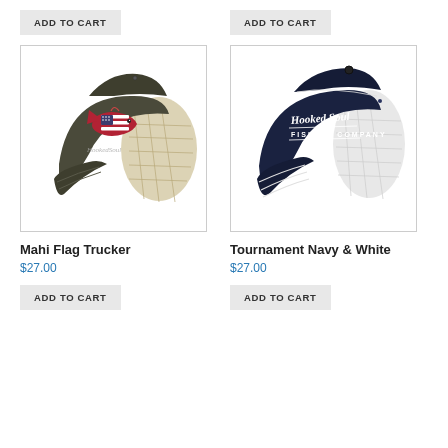ADD TO CART
ADD TO CART
[Figure (photo): Mahi Flag Trucker hat — olive/charcoal distressed trucker cap with American flag mahi fish patch on front and tan mesh back]
[Figure (photo): Tournament Navy & White hat — navy and white structured trucker cap with Hooked Soul Fishing Company script embroidery on front]
Mahi Flag Trucker
Tournament Navy & White
$27.00
$27.00
ADD TO CART
ADD TO CART